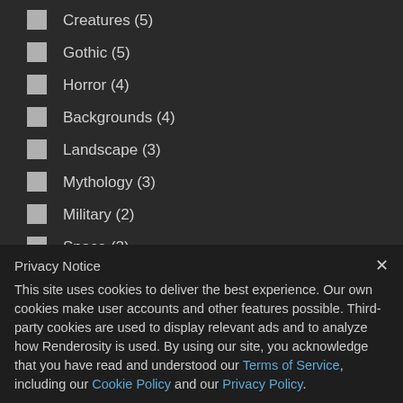Creatures (5)
Gothic (5)
Horror (4)
Backgrounds (4)
Landscape (3)
Mythology (3)
Military (2)
Space (2)
Aviation (2)
Privacy Notice
This site uses cookies to deliver the best experience. Our own cookies make user accounts and other features possible. Third-party cookies are used to display relevant ads and to analyze how Renderosity is used. By using our site, you acknowledge that you have read and understood our Terms of Service, including our Cookie Policy and our Privacy Policy.